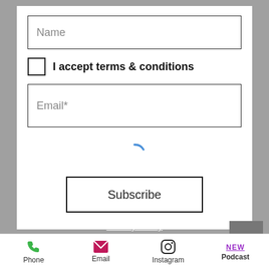[Figure (screenshot): Web form with Name field, I accept terms & conditions checkbox, Email* field, a loading spinner, and a Subscribe button]
Name
I accept terms & conditions
Email*
Subscribe
Privacy Policy
SWITCH, PIVOT OR QUIT © 2017
We may occasionally use affiliate marketing links and receive a commission based upon sales made. Such
Phone   Email   Instagram   Podcast NEW